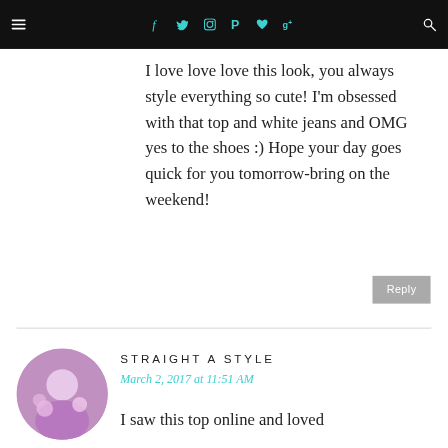Navigation bar with menu, social icons (facebook, twitter, instagram, pinterest, heart, google+), and search
I love love love this look, you always style everything so cute! I'm obsessed with that top and white jeans and OMG yes to the shoes :) Hope your day goes quick for you tomorrow-bring on the weekend!
Reply
STRAIGHT A STYLE
March 2, 2017 at 11:51 AM
I saw this top online and loved